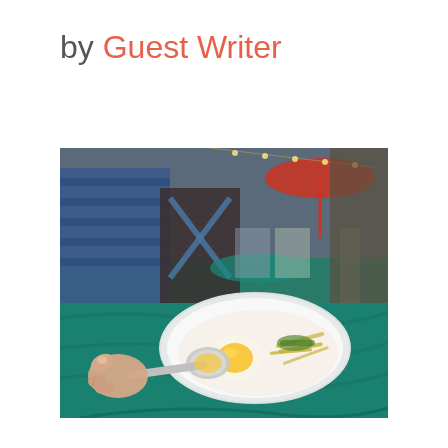by Guest Writer
[Figure (photo): A hand holds a spoon over a white plate of congee topped with a fried egg and garnishes, sitting on a teal tablecloth at an outdoor food market. People and colorful umbrellas are visible in the blurred background.]